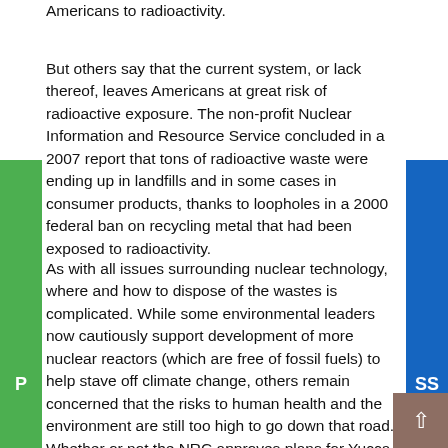... such terrorist attacks could expose untold numbers of Americans to radioactivity.
But others say that the current system, or lack thereof, leaves Americans at great risk of radioactive exposure. The non-profit Nuclear Information and Resource Service concluded in a 2007 report that tons of radioactive waste were ending up in landfills and in some cases in consumer products, thanks to loopholes in a 2000 federal ban on recycling metal that had been exposed to radioactivity.
As with all issues surrounding nuclear technology, where and how to dispose of the wastes is complicated. While some environmental leaders now cautiously support development of more nuclear reactors (which are free of fossil fuels) to help stave off climate change, others remain concerned that the risks to human health and the environment are still too high to go down that road. Whether or not the NRC approves plans for Yucca Mountain won't resolve the